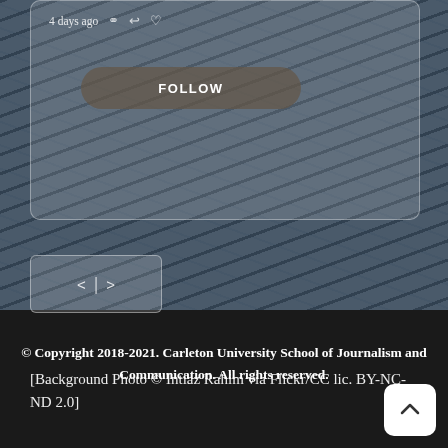[Figure (screenshot): Partial view of a social media post card with timestamp '4 days ago', comment/share/like icons, and a FOLLOW button, set against a dark textured ocean background.]
[Figure (screenshot): Navigation arrows widget with left arrow, vertical divider, and right arrow inside a rounded rectangle box.]
[Background Photo © Intiaz Rahim via Flickr/CC lic. BY-NC-ND 2.0]
© Copyright 2018-2021. Carleton University School of Journalism and Communication. All rights reserved.